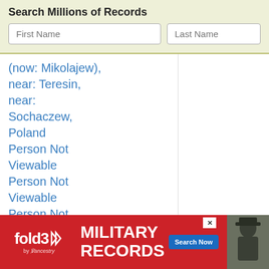Search Millions of Records
(now: Mikolajew), near: Teresin, near: Sochaczew, Poland
Person Not Viewable
Person Not Viewable
Person Not Viewable
Ewa : Birth:
ABT 174
Death: 2
1933 in
[Figure (infographic): fold3 Military Records advertisement banner with red background, fold3 logo with chevron marks, text 'MILITARY RECORDS', 'Search Now' blue button, soldier photo, and close X button]